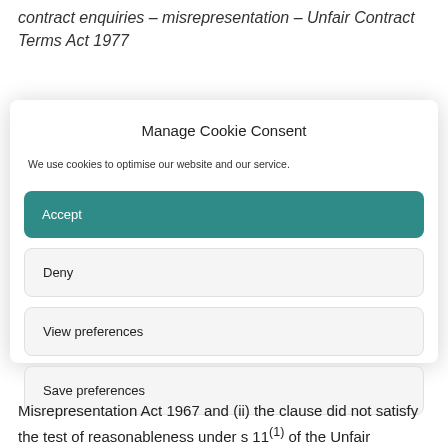contract enquiries – misrepresentation – Unfair Contract Terms Act 1977
Manage Cookie Consent
We use cookies to optimise our website and our service.
Accept
Deny
View preferences
Save preferences
Misrepresentation Act 1967 and (ii) the clause did not satisfy the test of reasonableness under s 11(1) of the Unfair